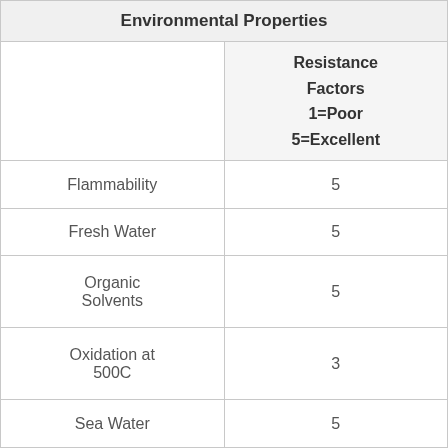|  | Resistance Factors 1=Poor 5=Excellent |
| --- | --- |
| Flammability | 5 |
| Fresh Water | 5 |
| Organic Solvents | 5 |
| Oxidation at 500C | 3 |
| Sea Water | 5 |